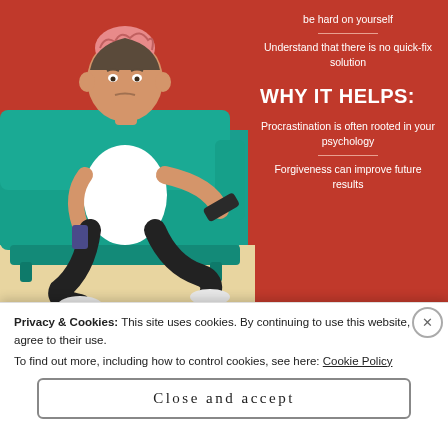[Figure (infographic): Infographic showing a man sitting on a teal couch holding a TV remote, with an exposed brain graphic. Orange/red right panel with 'WHY IT HELPS:' heading. Text explains procrastination psychology and forgiveness improving results.]
WHY IT HELPS:
Procrastination is often rooted in your psychology
Forgiveness can improve future results
Procrastination is more than putting off tasks; it's a fear of action. The solution? Have faith in yourself, live in the present and set realistic goals you can successfully achieve.
Privacy & Cookies: This site uses cookies. By continuing to use this website, you agree to their use.
To find out more, including how to control cookies, see here: Cookie Policy
Close and accept